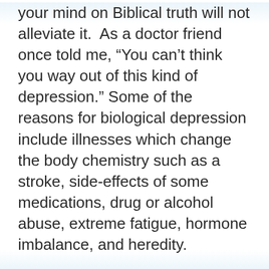your mind on Biblical truth will not alleviate it.  As a doctor friend once told me, “You can’t think you way out of this kind of depression.” Some of the reasons for biological depression include illnesses which change the body chemistry such as a stroke, side-effects of some medications, drug or alcohol abuse, extreme fatigue, hormone imbalance, and heredity.
What can help with biological depression? Thank God that we live in a time when there are both natural and traditional medications to help with this